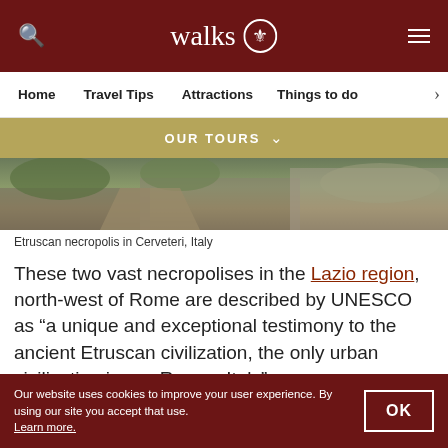walks [logo]
Home  Travel Tips  Attractions  Things to do
OUR TOURS
[Figure (photo): Etruscan necropolis in Cerveteri, Italy — outdoor path with stone walls and greenery]
Etruscan necropolis in Cerveteri, Italy
These two vast necropolises in the Lazio region, north-west of Rome are described by UNESCO as “a unique and exceptional testimony to the ancient Etruscan civilization, the only urban civilization in pre-Roman Italy”.
Our website uses cookies to improve your user experience. By using our site you accept that use. Learn more.